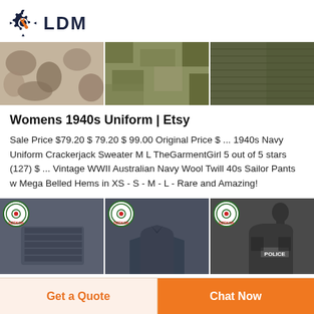LDM
[Figure (photo): Three product images in a horizontal strip: floral/camouflage fabric, multicam pattern, and olive green knit sweater]
Womens 1940s Uniform | Etsy
Sale Price $79.20 $ 79.20 $ 99.00 Original Price $ ... 1940s Navy Uniform Crackerjack Sweater M L TheGarmentGirl 5 out of 5 stars (127) $ ... Vintage WWII Australian Navy Wool Twill 40s Sailor Pants w Mega Belled Hems in XS - S - M - L - Rare and Amazing!
[Figure (photo): Three product images with DEEKON logos: dark fabric roll, dark military jacket, police tactical vest]
Get a Quote
Chat Now